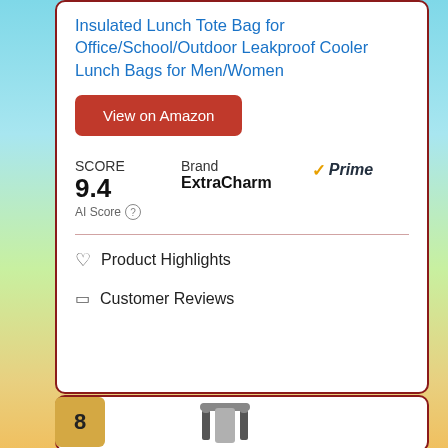Insulated Lunch Tote Bag for Office/School/Outdoor Leakproof Cooler Lunch Bags for Men/Women
View on Amazon
SCORE
9.4
AI Score
Brand
ExtraCharm
Prime
Product Highlights
Customer Reviews
8